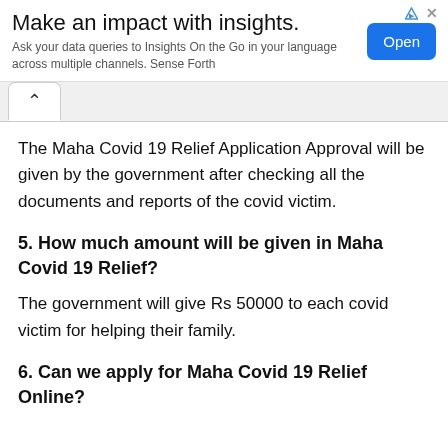[Figure (other): Advertisement banner: 'Make an impact with insights.' with subtitle 'Ask your data queries to Insights On the Go in your language across multiple channels. Sense Forth' and an Open button]
The Maha Covid 19 Relief Application Approval will be given by the government after checking all the documents and reports of the covid victim.
5. How much amount will be given in Maha Covid 19 Relief?
The government will give Rs 50000 to each covid victim for helping their family.
6. Can we apply for Maha Covid 19 Relief Online?